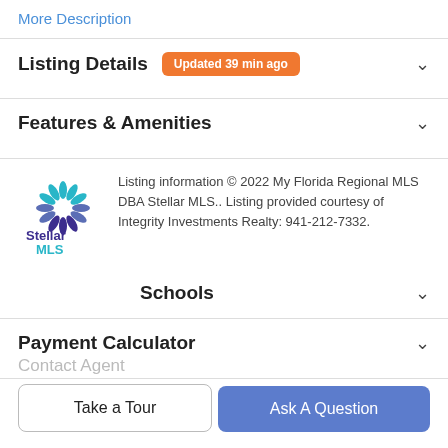More Description
Listing Details
Updated 39 min ago
Features & Amenities
Listing information © 2022 My Florida Regional MLS DBA Stellar MLS.. Listing provided courtesy of Integrity Investments Realty: 941-212-7332.
Schools
Payment Calculator
Contact Agent
Take a Tour
Ask A Question